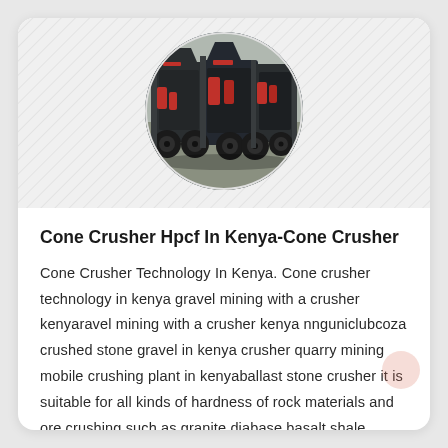[Figure (photo): Circular photograph of a cone crusher machine, dark grey/black industrial equipment with red accent parts, shown against a light background. Overlaid on a hatched diagonal-lines grey background panel.]
Cone Crusher Hpcf In Kenya-Cone Crusher
Cone Crusher Technology In Kenya. Cone crusher technology in kenya gravel mining with a crusher kenyaravel mining with a crusher kenya nnguniclubcoza crushed stone gravel in kenya crusher quarry mining mobile crushing plant in kenyaballast stone crusher it is suitable for all kinds of hardness of rock materials and ore crushing such as granite diabase basalt shale